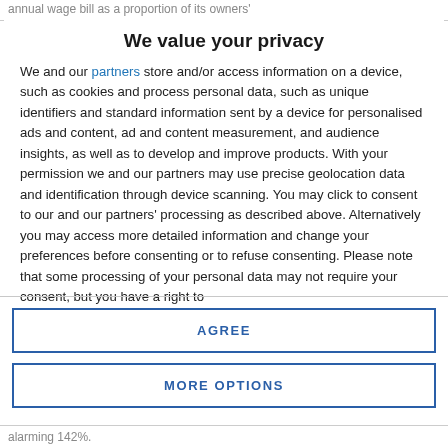annual wage bill as a proportion of its owners'
We value your privacy
We and our partners store and/or access information on a device, such as cookies and process personal data, such as unique identifiers and standard information sent by a device for personalised ads and content, ad and content measurement, and audience insights, as well as to develop and improve products. With your permission we and our partners may use precise geolocation data and identification through device scanning. You may click to consent to our and our partners' processing as described above. Alternatively you may access more detailed information and change your preferences before consenting or to refuse consenting. Please note that some processing of your personal data may not require your consent, but you have a right to
AGREE
MORE OPTIONS
alarming 142%.